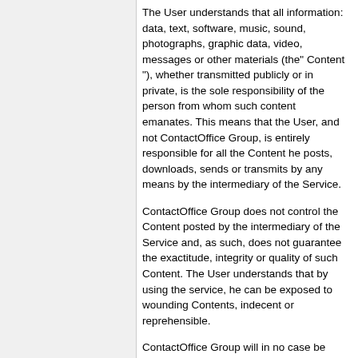The User understands that all information: data, text, software, music, sound, photographs, graphic data, video, messages or other materials (the" Content "), whether transmitted publicly or in private, is the sole responsibility of the person from whom such content emanates. This means that the User, and not ContactOffice Group, is entirely responsible for all the Content he posts, downloads, sends or transmits by any means by the intermediary of the Service.
ContactOffice Group does not control the Content posted by the intermediary of the Service and, as such, does not guarantee the exactitude, integrity or quality of such Content. The User understands that by using the service, he can be exposed to wounding Contents, indecent or reprehensible.
ContactOffice Group will in no case be held responsible in any manner for any Content, including, but in a non restrictive way, for all the errors or omissions in any Content, or for all types of losses or damages incurred within the framework of the use of the Content posted, downloaded, sent or transmitted by any means by the intermediary of the Service.
The User acknowledges that ContactOffice Group does not pre-screen Content, but that ContactOffice Group and its designees shall have the right (but not the obligation) in their sole discretion to refuse, edit, move or remove any Content that is publicly available via the Service. Without limiting the foregoing, ContactOffice Group and its designees shall have the right to remove any Content that violates the Terms of Use or is otherwise objectionable. The User